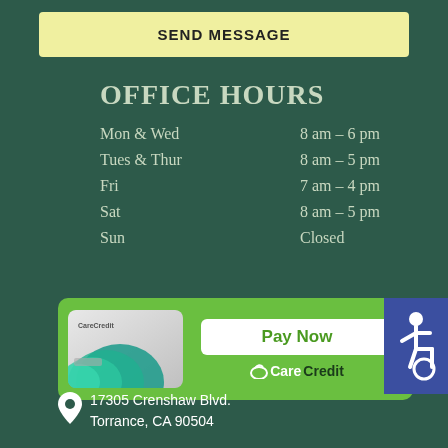SEND MESSAGE
OFFICE HOURS
| Day | Hours |
| --- | --- |
| Mon & Wed | 8 am – 6 pm |
| Tues & Thur | 8 am – 5 pm |
| Fri | 7 am – 4 pm |
| Sat | 8 am – 5 pm |
| Sun | Closed |
[Figure (logo): CareCredit payment banner with card image, Pay Now button, and CareCredit logo]
17305 Crenshaw Blvd. Torrance, CA 90504
[Figure (illustration): Accessibility wheelchair icon badge in blue]